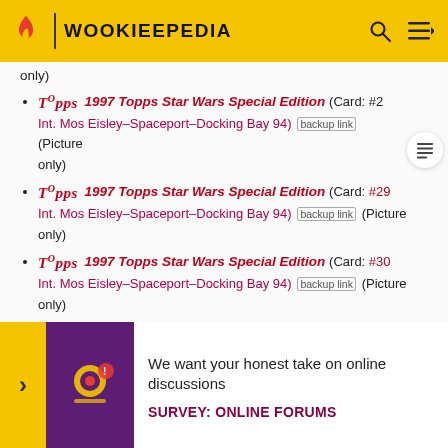WOOKIEEPEDIA
only)
1997 Topps Star Wars Special Edition (Card: #2 Int. Mos Eisley–Spaceport–Docking Bay 94) (backup link) (Picture only)
1997 Topps Star Wars Special Edition (Card: #29 Int. Mos Eisley–Spaceport–Docking Bay 94) (backup link) (Picture only)
1997 Topps Star Wars Special Edition (Card: #30 Int. Mos Eisley–Spaceport–Docking Bay 94) (backup link) (Picture only)
Star Wars Trilogy Sourcebook, Special Edition (Picture
S...
...
We want your honest take on online discussions
SURVEY: ONLINE FORUMS